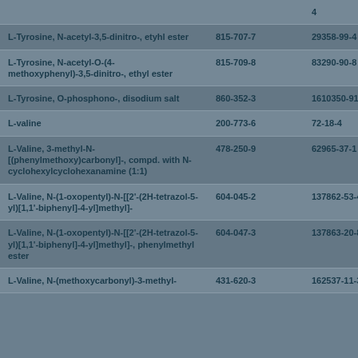| Name | EC Number | CAS Number |
| --- | --- | --- |
|  |  | 4 |
| L-Tyrosine, N-acetyl-3,5-dinitro-, etyhl ester | 815-707-7 | 29358-99-4 |
| L-Tyrosine, N-acetyl-O-(4-methoxyphenyl)-3,5-dinitro-, ethyl ester | 815-709-8 | 83290-90-8 |
| L-Tyrosine, O-phosphono-, disodium salt | 860-352-3 | 1610350-91-8 |
| L-valine | 200-773-6 | 72-18-4 |
| L-Valine, 3-methyl-N-[(phenylmethoxy)carbonyl]-, compd. with N-cyclohexylcyclohexanamine (1:1) | 478-250-9 | 62965-37-1 |
| L-Valine, N-(1-oxopentyl)-N-[[2'-(2H-tetrazol-5-yl)[1,1'-biphenyl]-4-yl]methyl]- | 604-045-2 | 137862-53-4 |
| L-Valine, N-(1-oxopentyl)-N-[[2'-(2H-tetrazol-5-yl)[1,1'-biphenyl]-4-yl]methyl]-, phenylmethyl ester | 604-047-3 | 137863-20-8 |
| L-Valine, N-(methoxycarbonyl)-3-methyl- | 431-620-3 | 162537-11-3 |